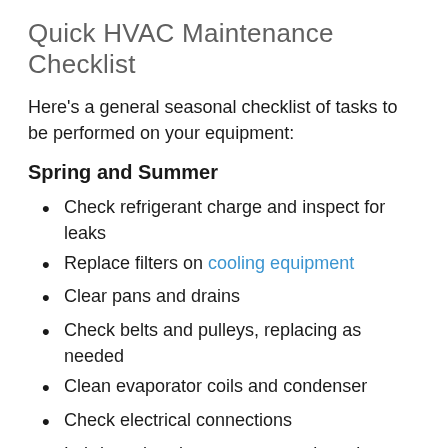Quick HVAC Maintenance Checklist
Here's a general seasonal checklist of tasks to be performed on your equipment:
Spring and Summer
Check refrigerant charge and inspect for leaks
Replace filters on cooling equipment
Clear pans and drains
Check belts and pulleys, replacing as needed
Clean evaporator coils and condenser
Check electrical connections
Lubricate bearings, motors, and moving parts